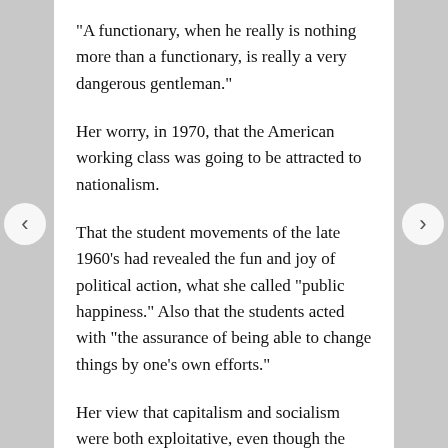"A functionary, when he really is nothing more than a functionary, is really a very dangerous gentleman."
Her worry, in 1970, that the American working class was going to be attracted to nationalism.
That the student movements of the late 1960's had revealed the fun and joy of political action, what she called "public happiness." Also that the students acted with "the assurance of being able to change things by one's own efforts."
Her view that capitalism and socialism were both exploitative, even though the latter was created to solve that problem in the former.
The idea that she didn't consider herself a